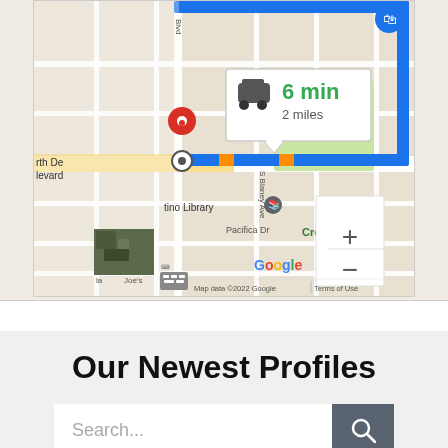[Figure (map): Google Maps screenshot showing a driving route near Cupertino, CA. Shows '6 min / 2 miles' callout, blue route line, Cupertino High School, tino Library, Pacifica Dr, Creekside label, Google branding, Map data ©2022 Google, Terms of Use. Red destination pin and navigation target pin visible.]
Our Newest Profiles
[Figure (screenshot): Search input box with placeholder text 'Search...' and a dark gray search button with magnifying glass icon.]